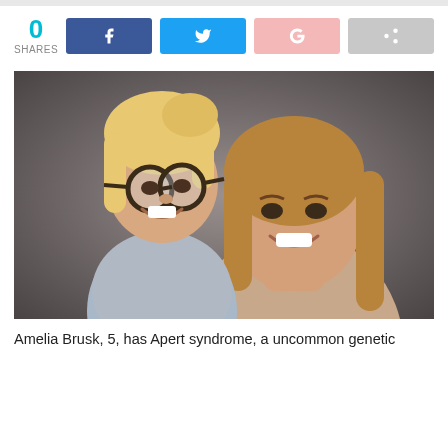[Figure (infographic): Social share bar showing 0 shares with Facebook (blue), Twitter (light blue), Google+ (pink), and share (grey) buttons]
[Figure (photo): A young girl with blonde hair and large round glasses, wearing a grey sweater, sitting on the shoulders of a smiling woman with straight brown hair. Both are smiling at the camera against a grey background.]
Amelia Brusk, 5, has Apert syndrome, a uncommon genetic